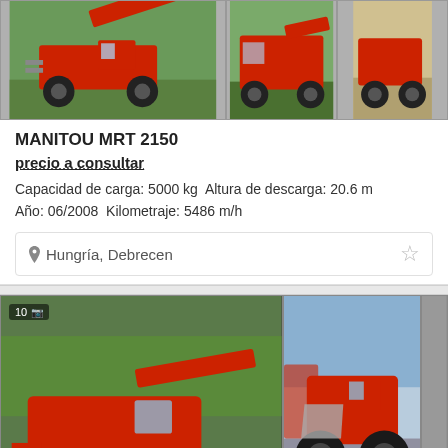[Figure (photo): Three photos of a red Manitou MRT 2150 telescopic handler from various angles]
MANITOU MRT 2150
precio a consultar
Capacidad de carga: 5000 kg  Altura de descarga: 20.6 m
Año: 06/2008  Kilometraje: 5486 m/h
Hungría, Debrecen
[Figure (photo): Two photos of a red Weidemann 3070 CX80 wheel loader from various angles, partially cropped third photo]
WEIDEMANN 3070 CX80